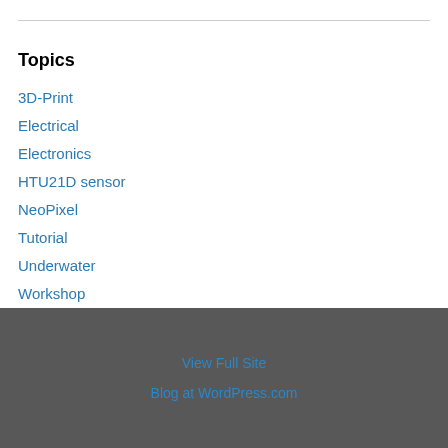Topics
3D-Print
Electrical
Electronics
HTU21D sensor
NeoPixel
Tutorial
Underwater
Workshop
View Full Site
Blog at WordPress.com